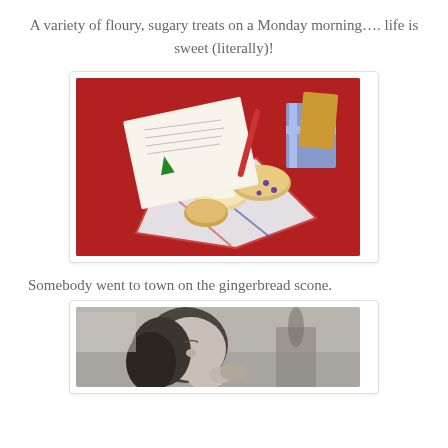A variety of floury, sugary treats on a Monday morning…. life is sweet (literally)!
[Figure (photo): Photo of baked goods (scones and treats) arranged on a colorful holiday napkin on a red surface, with a Christmas card visible in the background]
Somebody went to town on the gingerbread scone.
[Figure (photo): Black and white photo of a young child eating a scone or baked good]